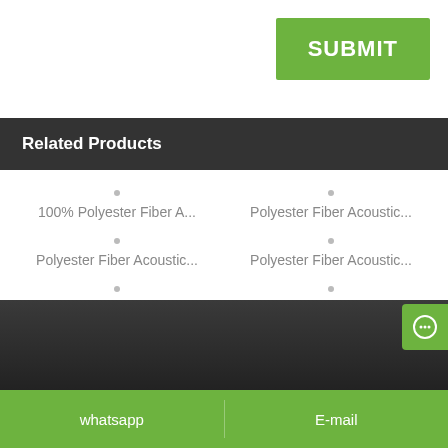SUBMIT
Related Products
100% Polyester Fiber A...
Polyester Fiber Acoustic...
Polyester Fiber Acoustic...
Polyester Fiber Acoustic...
Polyester Sound Absorb...
Polyester Fiber Panel
whatsapp    E-mail